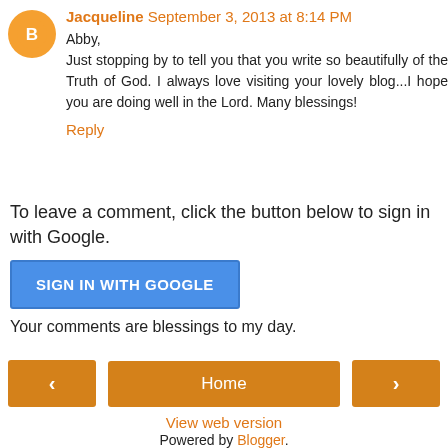Jacqueline September 3, 2013 at 8:14 PM
Abby,
Just stopping by to tell you that you write so beautifully of the Truth of God. I always love visiting your lovely blog...I hope you are doing well in the Lord. Many blessings!
Reply
To leave a comment, click the button below to sign in with Google.
SIGN IN WITH GOOGLE
Your comments are blessings to my day.
Home
View web version
Powered by Blogger.